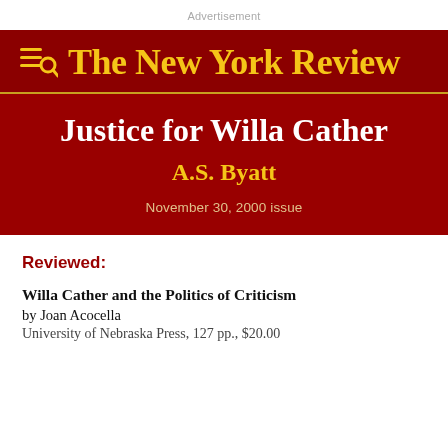Advertisement
The New York Review
Justice for Willa Cather
A.S. Byatt
November 30, 2000 issue
Reviewed:
Willa Cather and the Politics of Criticism
by Joan Acocella
University of Nebraska Press, 127 pp., $20.00